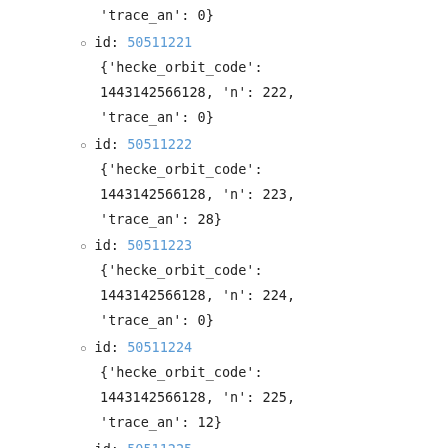'trace_an': 0}
id: 50511221 {'hecke_orbit_code': 1443142566128, 'n': 222, 'trace_an': 0}
id: 50511222 {'hecke_orbit_code': 1443142566128, 'n': 223, 'trace_an': 28}
id: 50511223 {'hecke_orbit_code': 1443142566128, 'n': 224, 'trace_an': 0}
id: 50511224 {'hecke_orbit_code': 1443142566128, 'n': 225, 'trace_an': 12}
id: 50511225 {'hecke_orbit_code': 1443142566128, 'n': 226,